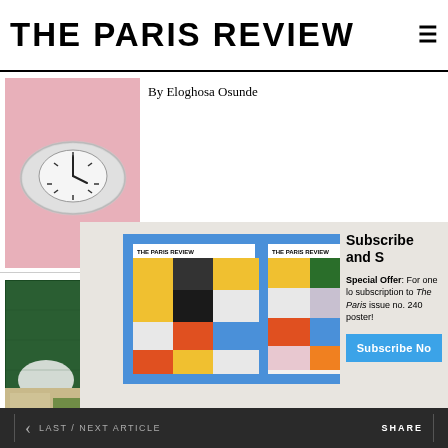THE PARIS REVIEW
By Eloghosa Osunde
[Figure (photo): A melting silver clock brooch on a pink background]
[Figure (photo): Close-up of a dark green textured surface with a white oval shape]
[Figure (illustration): Subscription offer modal showing two The Paris Review magazine covers with colorful geometric grid patterns on blue background]
Subscribe and S
Special Offer: For one lo subscription to The Paris issue no. 240 poster!
Subscribe No
By Ann on th
[Figure (photo): Partial book cover or illustration on tan/beige background]
< LAST / NEXT ARTICLE    SHARE